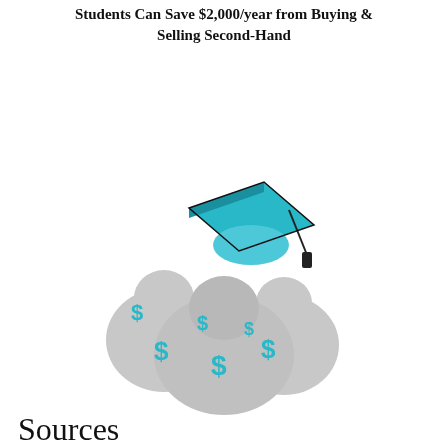Students Can Save $2,000/year from Buying & Selling Second-Hand
[Figure (illustration): Illustration of a graduation cap (mortarboard) in teal/cyan color sitting on top of a pile of gray money bags with cyan dollar signs on them.]
Sources